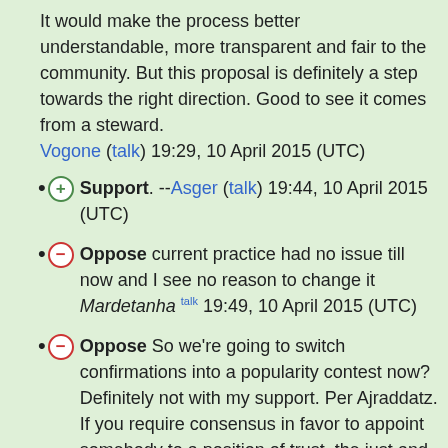It would make the process better understandable, more transparent and fair to the community. But this proposal is definitely a step towards the right direction. Good to see it comes from a steward. Vogone (talk) 19:29, 10 April 2015 (UTC)
⊕ Support. --Asger (talk) 19:44, 10 April 2015 (UTC)
⊖ Oppose current practice had no issue till now and I see no reason to change it Mardetanha talk 19:49, 10 April 2015 (UTC)
⊖ Oppose So we're going to switch confirmations into a popularity contest now? Definitely not with my support. Per Ajraddatz. If you require consensus in favor to appoint somebody to a position of trust, the just and fair is to require consensus to remove in order to demote somebody from any position of trust; otherwise the confirmation process will be totally